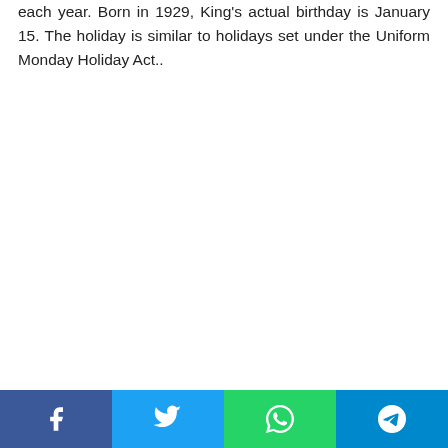each year. Born in 1929, King's actual birthday is January 15. The holiday is similar to holidays set under the Uniform Monday Holiday Act..
[Figure (other): Social sharing bar with four buttons: Facebook (blue), Twitter (light blue), WhatsApp (green), Telegram (dark blue)]